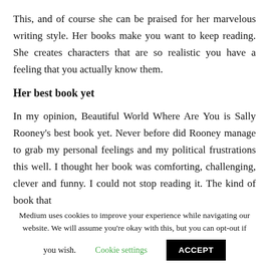This, and of course she can be praised for her marvelous writing style. Her books make you want to keep reading. She creates characters that are so realistic you have a feeling that you actually know them.
Her best book yet
In my opinion, Beautiful World Where Are You is Sally Rooney's best book yet. Never before did Rooney manage to grab my personal feelings and my political frustrations this well. I thought her book was comforting, challenging, clever and funny. I could not stop reading it. The kind of book that
Medium uses cookies to improve your experience while navigating our website. We will assume you're okay with this, but you can opt-out if you wish. Cookie settings ACCEPT